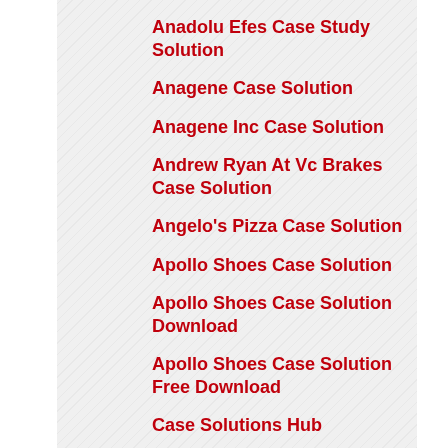Anadolu Efes Case Study Solution
Anagene Case Solution
Anagene Inc Case Solution
Andrew Ryan At Vc Brakes Case Solution
Angelo's Pizza Case Solution
Apollo Shoes Case Solution
Apollo Shoes Case Solution Download
Apollo Shoes Case Solution Free Download
Case Solutions Hub
Case Solutions Llc